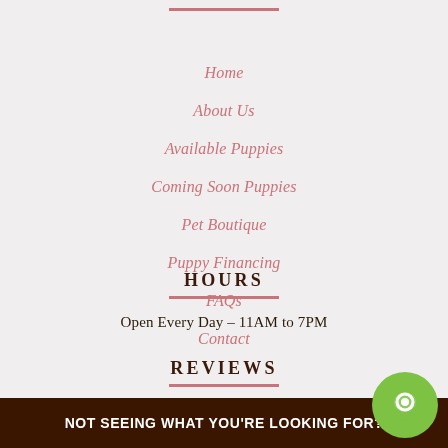Home
About Us
Available Puppies
Coming Soon Puppies
Pet Boutique
Puppy Financing
FAQs
Contact
HOURS
Open Every Day – 11AM to 7PM
REVIEWS
[Figure (other): Five gold/orange star rating icons]
NOT SEEING WHAT YOU'RE LOOKING FOR?